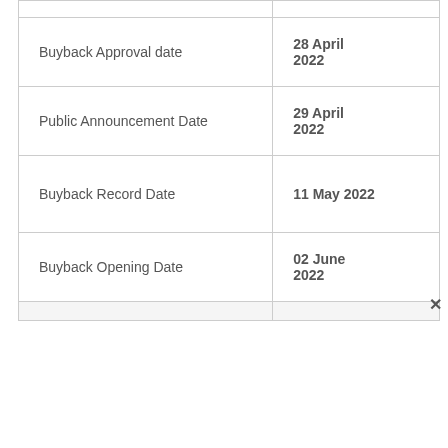|  |  |
| --- | --- |
| Buyback Approval date | 28 April 2022 |
| Public Announcement Date | 29 April 2022 |
| Buyback Record Date | 11 May 2022 |
| Buyback Opening Date | 02 June 2022 |